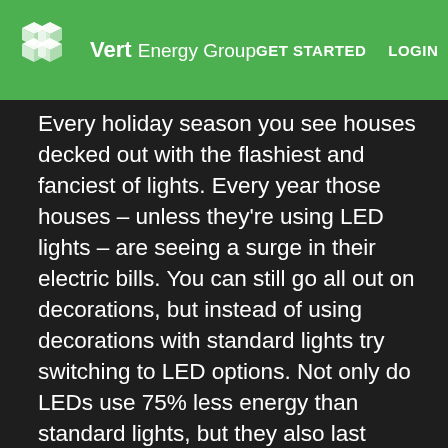Vert Energy Group | GET STARTED | LOGIN
Every holiday season you see houses decked out with the flashiest and fanciest of lights. Every year those houses – unless they're using LED lights – are seeing a surge in their electric bills. You can still go all out on decorations, but instead of using decorations with standard lights try switching to LED options. Not only do LEDs use 75% less energy than standard lights, but they also last longer. According to Energy Star, LED options can last up to 100,000 hours, are safer, and more durable than regular lights.